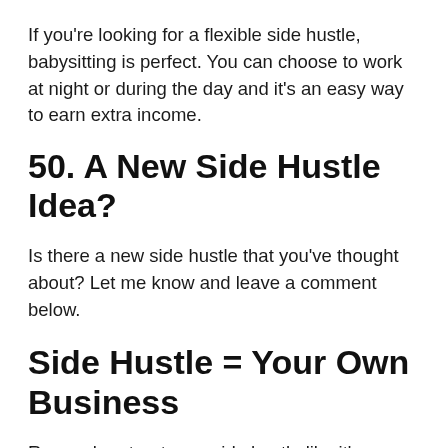If you're looking for a flexible side hustle, babysitting is perfect. You can choose to work at night or during the day and it's an easy way to earn extra income.
50. A New Side Hustle Idea?
Is there a new side hustle that you've thought about? Let me know and leave a comment below.
Side Hustle = Your Own Business
Remember, treat your side hustle like it's a legitimate business. Because if...